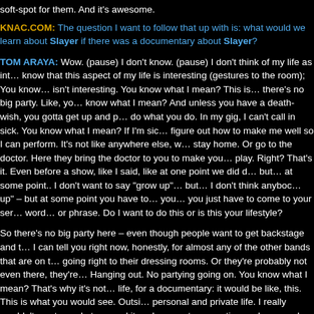soft-spot for them. And it's awesome.
KNAC.COM: The question I want to follow that up with is: what would we learn about Slayer if there was a documentary about Slayer?
TOM ARAYA: Wow. (pause) I don't know. (pause) I don't think of my life as interesting. You know, I don't know that this aspect of my life is interesting (gestures to the room); You know what I mean? This isn't interesting. You know what I mean? This is… there's no big party. Like, you know what I mean? And unless you have a death-wish, you gotta get up and perform and do what you do. In my gig, I can't call in sick. You know what I mean? If I'm sick, they have to figure out how to make me well so I can perform. It's not like anywhere else, where you can stay home. Or go to the doctor. Here they bring the doctor to you to make you well so you play. Right? That's it. Even before a show, like I said, like at one point we did do that… but… at some point.. I don't want to say "grow up"… but… I don't think anybody "grows up" – but at some point you have to… you… you just have to come to your senses. That's the word… or phrase. Do I want to do this or is this your lifestyle? So there's no big party here – even though people want to get backstage and hang out. I can tell you right now, honestly, for almost any of the other bands that are on the tour are going right to their dressing rooms. Or they're probably not even there, they're in their bus. Hanging out. No partying going on. You know what I mean? That's why it's not interesting to me in life, for a documentary: it would be like, this. This is what you would see. Outside of my personal and private life. I really wouldn't want people to record it or document it because sometimes when people tell me, "They're going to come in and record it with cameras." What're they gonna record? I'm like… You know? But… I don't… it's uncomfortable for me. Like even when we did "Unholy Alliance," they wanted "backstage stuff" – and none of that backstage stuff really happens. It happens… maybe at the end of the show, but by then the cameras are packed up. You know what I mean? And the only one who really does any of that is Kerry. He'll hang out and he'll drink that beer and all that other stuff… You know what I mean? And maybe also in the band… Dave does every now and then… although apparently…